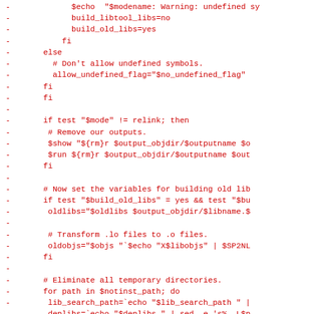Diff/patch code listing showing shell script changes with removal markers (-)
- $echo "$modename: Warning: undefined sy...
-             build_libtool_libs=no
-             build_old_libs=yes
-           fi
-       else
-         # Don't allow undefined symbols.
-         allow_undefined_flag="$no_undefined_flag"
-       fi
-       fi
-
-       if test "$mode" != relink; then
-        # Remove our outputs.
-        $show "${rm}r $output_objdir/$outputname $o...
-        $run ${rm}r $output_objdir/$outputname $out...
-       fi
-
-       # Now set the variables for building old lib...
-       if test "$build_old_libs" = yes && test "$bu...
-        oldlibs="$oldlibs $output_objdir/$libname.$...
-
-        # Transform .lo files to .o files.
-        oldobjs="$objs "`$echo "X$libobjs" | $SP2NL...
-       fi
-
-       # Eliminate all temporary directories.
-       for path in $notinst_path; do
-        lib_search_path=`echo "$lib_search_path " |...
-        deplibs=`echo "$deplibs " | sed -e 's% -L$p...
-        dependency_libs=`echo "$dependency_libs " |...
-       done